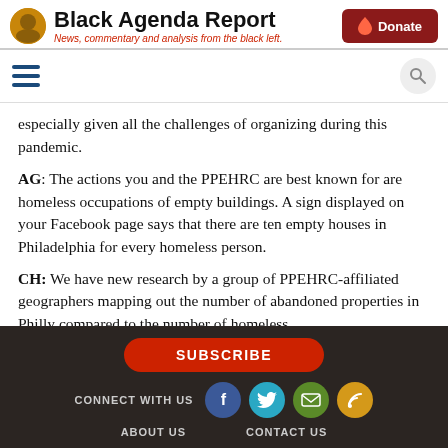Black Agenda Report — News, commentary and analysis from the black left.
especially given all the challenges of organizing during this pandemic.
AG: The actions you and the PPEHRC are best known for are homeless occupations of empty buildings. A sign displayed on your Facebook page says that there are ten empty houses in Philadelphia for every homeless person.
CH: We have new research by a group of PPEHRC-affiliated geographers mapping out the number of abandoned properties in Philly compared to the number of homeless
SUBSCRIBE | CONNECT WITH US | ABOUT US | CONTACT US